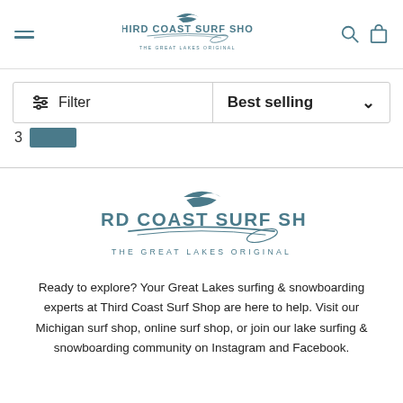Third Coast Surf Shop — The Great Lakes Original
Filter | Best selling
3
[Figure (logo): Third Coast Surf Shop logo — The Great Lakes Original, large version in footer]
Ready to explore? Your Great Lakes surfing & snowboarding experts at Third Coast Surf Shop are here to help. Visit our Michigan surf shop, online surf shop, or join our lake surfing & snowboarding community on Instagram and Facebook.